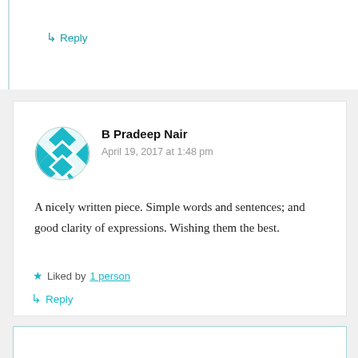↳ Reply
B Pradeep Nair
April 19, 2017 at 1:48 pm
A nicely written piece. Simple words and sentences; and good clarity of expressions. Wishing them the best.
Liked by 1 person
↳ Reply